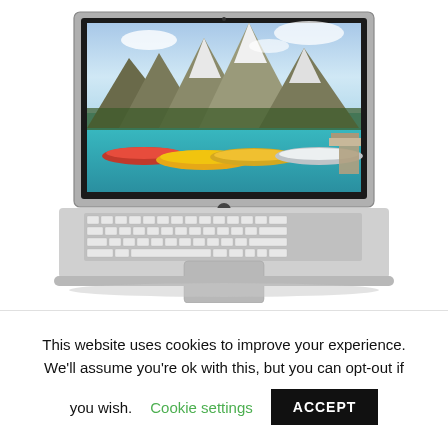[Figure (photo): HP laptop computer open with screen showing a scenic photo of mountains, a turquoise lake, and colorful canoes/kayaks. The laptop has a silver aluminum body with a full keyboard and touchpad visible. HP logo on the hinge.]
This website uses cookies to improve your experience. We'll assume you're ok with this, but you can opt-out if you wish.
Cookie settings
ACCEPT